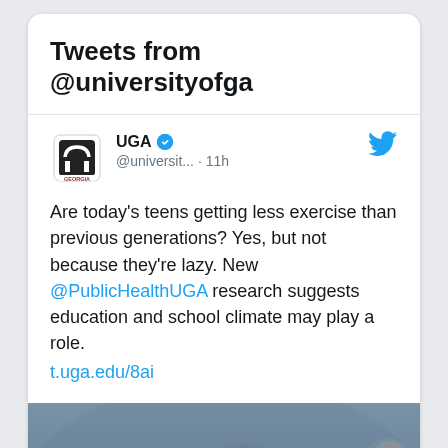Tweets from @universityofga
UGA @universit... · 11h
Are today's teens getting less exercise than previous generations? Yes, but not because they're lazy. New @PublicHealthUGA research suggests education and school climate may play a role. t.uga.edu/8ai
[Figure (photo): Group of teenagers sitting together outdoors, socializing, blurred background]